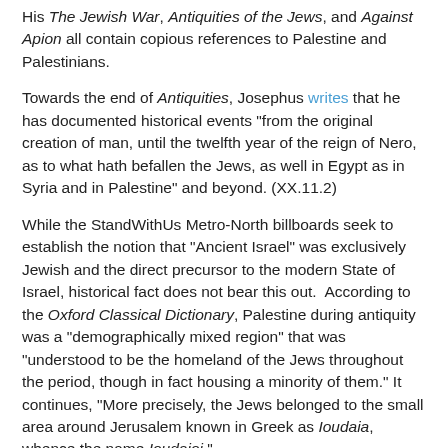His The Jewish War, Antiquities of the Jews, and Against Apion all contain copious references to Palestine and Palestinians.
Towards the end of Antiquities, Josephus writes that he has documented historical events "from the original creation of man, until the twelfth year of the reign of Nero, as to what hath befallen the Jews, as well in Egypt as in Syria and in Palestine" and beyond. (XX.11.2)
While the StandWithUs Metro-North billboards seek to establish the notion that "Ancient Israel" was exclusively Jewish and the direct precursor to the modern State of Israel, historical fact does not bear this out.  According to the Oxford Classical Dictionary, Palestine during antiquity was a "demographically mixed region" that was "understood to be the homeland of the Jews throughout the period, though in fact housing a minority of them." It continues, "More precisely, the Jews belonged to the small area around Jerusalem known in Greek as Ioudaia, whence the name Ioudaioi."